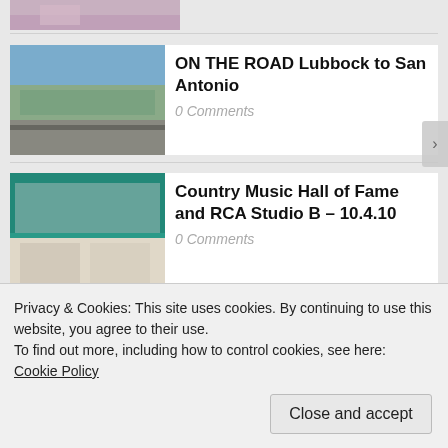[Figure (photo): Partial thumbnail image at top]
ON THE ROAD Lubbock to San Antonio
0 Comments
Country Music Hall of Fame and RCA Studio B – 10.4.10
0 Comments
Rockabilly Hall of Fame 3.23.10
0 Comments
Privacy & Cookies: This site uses cookies. By continuing to use this website, you agree to their use.
To find out more, including how to control cookies, see here: Cookie Policy
Close and accept